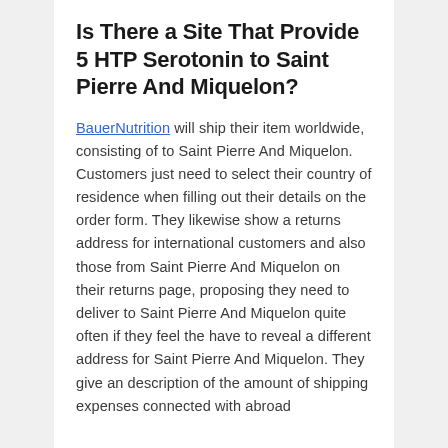Is There a Site That Provide 5 HTP Serotonin to Saint Pierre And Miquelon?
BauerNutrition will ship their item worldwide, consisting of to Saint Pierre And Miquelon. Customers just need to select their country of residence when filling out their details on the order form. They likewise show a returns address for international customers and also those from Saint Pierre And Miquelon on their returns page, proposing they need to deliver to Saint Pierre And Miquelon quite often if they feel the have to reveal a different address for Saint Pierre And Miquelon. They give an description of the amount of shipping expenses connected with abroad